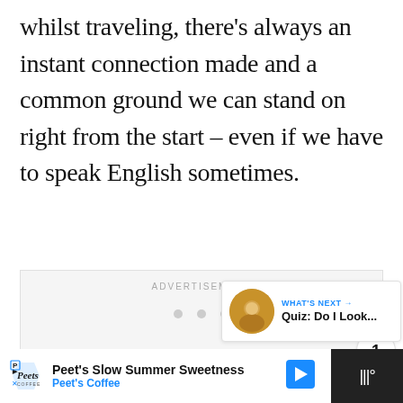whilst traveling, there's always an instant connection made and a common ground we can stand on right from the start – even if we have to speak English sometimes.
[Figure (screenshot): Advertisement placeholder box with 'ADVERTISEMENT' label and three loading dots]
[Figure (infographic): Social interaction buttons: heart/like button (blue circle), count showing 1, share button]
[Figure (infographic): What's Next card showing thumbnail image and text 'Quiz: Do I Look...' with blue arrow label]
[Figure (infographic): Bottom advertisement bar for Peet's Slow Summer Sweetness / Peet's Coffee with logo and navigation arrow]